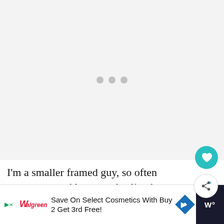[Figure (other): Loading placeholder with three gray dots on a light gray background]
I'm a smaller framed guy, so often messenger and larger style sling bags (such as the Everyday Sling_ ve...
[Figure (other): Walgreens advertisement banner: Save On Select Cosmetics With Buy 2 Get 3rd Free!]